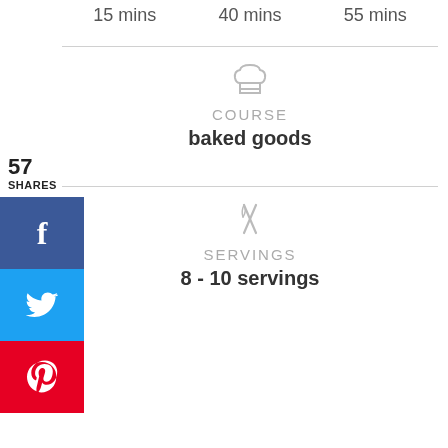15 mins   40 mins   55 mins
COURSE
baked goods
SERVINGS
8 - 10 servings
57
SHARES